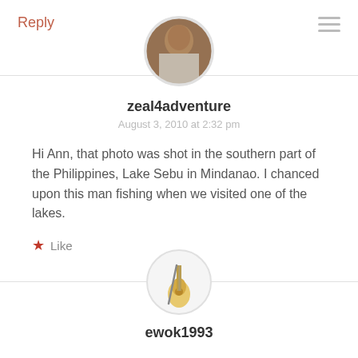Reply
[Figure (photo): Circular avatar photo of user zeal4adventure showing a person indoors]
zeal4adventure
August 3, 2010 at 2:32 pm
Hi Ann, that photo was shot in the southern part of the Philippines, Lake Sebu in Mindanao. I chanced upon this man fishing when we visited one of the lakes.
★ Like
[Figure (illustration): Circular avatar image of a guitar, representing user ewok1993]
ewok1993